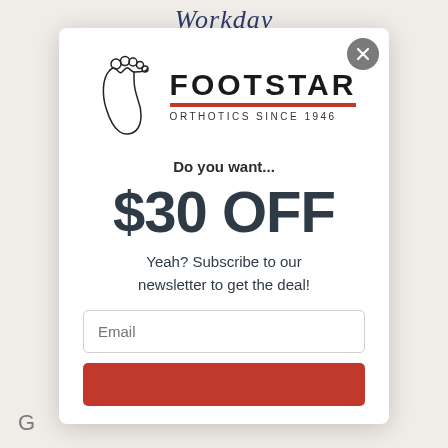Workday
[Figure (logo): Footstar logo with foot outline drawing and text 'FOOTSTAR' in bold with red underline bar, subtitle 'ORTHOTICS SINCE 1946']
Do you want...
$30 OFF
Yeah? Subscribe to our newsletter to get the deal!
Email